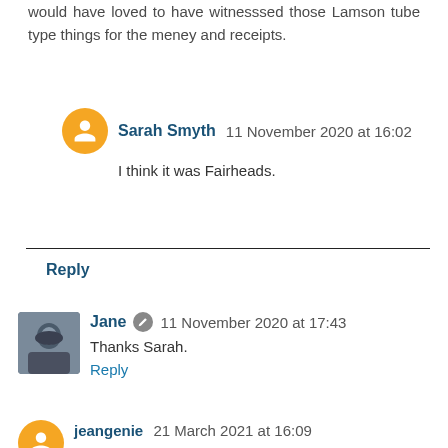would have loved to have witnesssed those Lamson tube type things for the meney and receipts.
Sarah Smyth 11 November 2020 at 16:02
I think it was Fairheads.
Reply
Jane 11 November 2020 at 17:43
Thanks Sarah.
Reply
jeangenie 21 March 2021 at 16:09
What was the name of the Cash & Carry which was in Newbury Park in the 70s
Reply